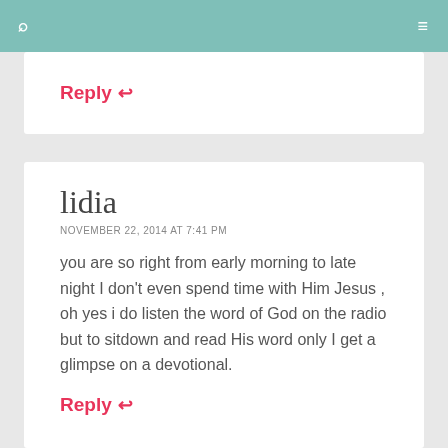🔍  ≡
Reply ↩
lidia
NOVEMBER 22, 2014 AT 7:41 PM
you are so right from early morning to late night I don't even spend time with Him Jesus , oh yes i do listen the word of God on the radio but to sitdown and read His word only I get a glimpse on a devotional.
Reply ↩